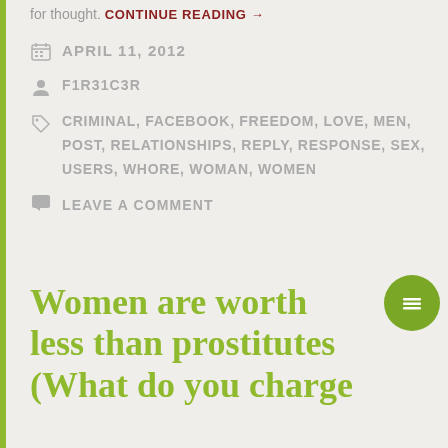for thought. CONTINUE READING →
APRIL 11, 2012
F1R31C3R
CRIMINAL, FACEBOOK, FREEDOM, LOVE, MEN, POST, RELATIONSHIPS, REPLY, RESPONSE, SEX, USERS, WHORE, WOMAN, WOMEN
LEAVE A COMMENT
Women are worth less than prostitutes (What do you charge